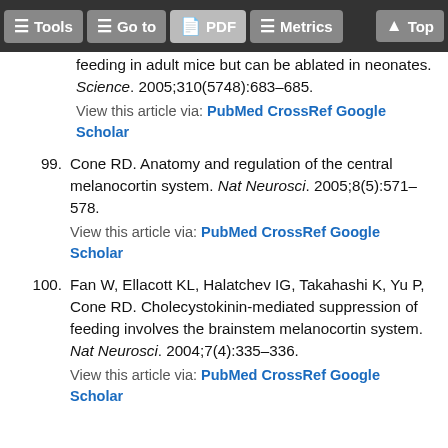Tools | Go to | PDF | Metrics | Top
feeding in adult mice but can be ablated in neonates. Science. 2005;310(5748):683–685. View this article via: PubMed CrossRef Google Scholar
99. Cone RD. Anatomy and regulation of the central melanocortin system. Nat Neurosci. 2005;8(5):571–578. View this article via: PubMed CrossRef Google Scholar
100. Fan W, Ellacott KL, Halatchev IG, Takahashi K, Yu P, Cone RD. Cholecystokinin-mediated suppression of feeding involves the brainstem melanocortin system. Nat Neurosci. 2004;7(4):335–336. View this article via: PubMed CrossRef Google Scholar